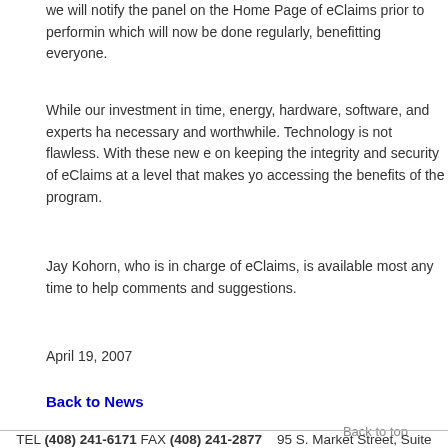we will notify the panel on the Home Page of eClaims prior to performing which will now be done regularly, benefitting everyone.
While our investment in time, energy, hardware, software, and experts ha necessary and worthwhile. Technology is not flawless. With these new e on keeping the integrity and security of eClaims at a level that makes yo accessing the benefits of the program.
Jay Kohorn, who is in charge of eClaims, is available most any time to help comments and suggestions.
April 19, 2007
Back to News
Back to top
TEL (408) 241-6171 FAX (408) 241-2877    95 S. Market Street, Suite
HOME | STARTING AN APPEAL | CONTACT SDAP | NEWS | RESEARCH | CLAIMS| LINKS | SITE
Copyright © 2003-2019 Sixth District Appellate Program. All rights re